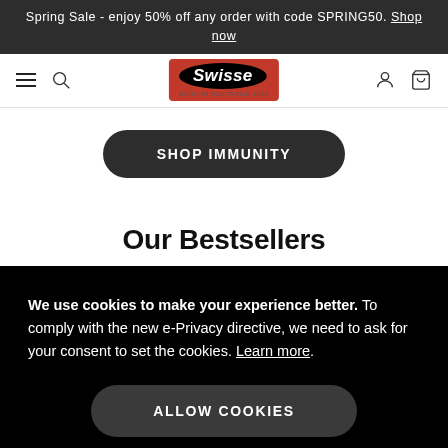Spring Sale - enjoy 50% off any order with code SPRING50. Shop now
[Figure (logo): Swisse logo - red rectangle with black oval containing italic Swisse text, 'Born in Australia 1969' tagline below]
SHOP IMMUNITY
Our Bestsellers
We use cookies to make your experience better. To comply with the new e-Privacy directive, we need to ask for your consent to set the cookies. Learn more.
ALLOW COOKIES